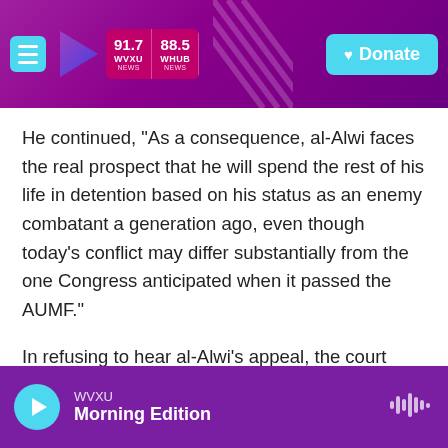[Figure (screenshot): WVXU/WHUB radio website navigation bar with hamburger menu, play button, station frequency badges (91.7 WVXU NEWS, 88.5 WHUB NEWS), and a Donate button]
He continued, "As a consequence, al-Alwi faces the real prospect that he will spend the rest of his life in detention based on his status as an enemy combatant a generation ago, even though today's conflict may differ substantially from the one Congress anticipated when it passed the AUMF."
In refusing to hear al-Alwi's appeal, the court "has taken no position" on the merits of his case, Breyer observed. But, he added, "I would, in an appropriate case," vote to hear an appeal "to address whether, in light of the duration and other
[Figure (screenshot): WVXU audio player bar at bottom showing play button, station name WVXU, and program Morning Edition with waveform icon]